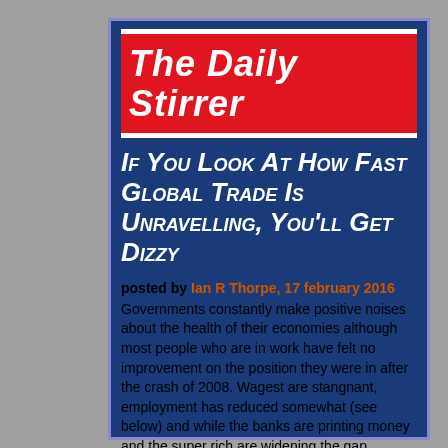[Figure (logo): The Daily Stirrer red logo banner with white italic bold text on red background]
If You Look At How Fast Global Trade Is Unravelling, You'll Get Dizzy
posted by Ian R Thorpe, 17 february 2016
Governments constantly make positive noises about the health of their economies although most people who are in work have felt no improvement on the position they were in after the crash of 2008. Wagest are stangnant, employment has reduced somewhat (see below) and while the banks are printing money and the super rich are widening the gap between themselves